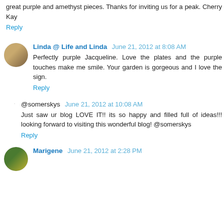great purple and amethyst pieces. Thanks for inviting us for a peak. Cherry Kay
Reply
Linda @ Life and Linda  June 21, 2012 at 8:08 AM
Perfectly purple Jacqueline. Love the plates and the purple touches make me smile. Your garden is gorgeous and I love the sign.
Reply
@somerskys  June 21, 2012 at 10:08 AM
Just saw ur blog LOVE IT!! its so happy and filled full of ideas!!! looking forward to visiting this wonderful blog! @somerskys
Reply
Marigene  June 21, 2012 at 2:28 PM